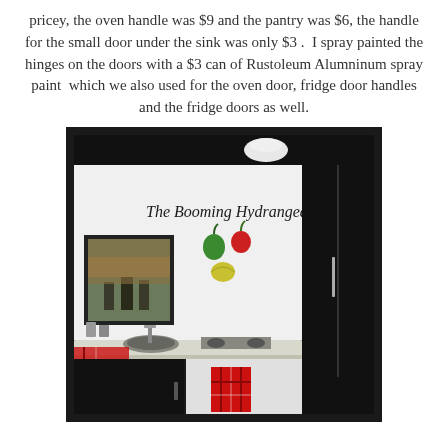pricey, the oven handle was $9 and the pantry was $6, the handle for the small door under the sink was only $3 .  I spray painted the hinges on the doors with a $3 can of Rustoleum Alumninum spray paint  which we also used for the oven door, fridge door handles and the fridge doors as well.
[Figure (photo): A play kitchen set built inside a dark-painted entertainment center/armoire. Features a white interior with 'The Booming Hydrangea' written in cursive on the upper portion, fruit magnets (green, red, and yellow), a red oven mitt hanging on the right side, a framed family photo on the left, a sink with faucet, a stovetop, white countertop, and red plaid kitchen towels. The exterior is painted black.]